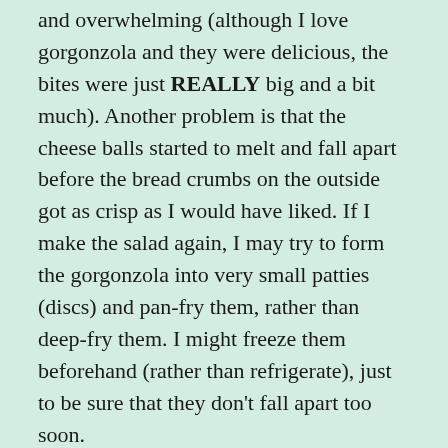and overwhelming (although I love gorgonzola and they were delicious, the bites were just REALLY big and a bit much). Another problem is that the cheese balls started to melt and fall apart before the bread crumbs on the outside got as crisp as I would have liked. If I make the salad again, I may try to form the gorgonzola into very small patties (discs) and pan-fry them, rather than deep-fry them. I might freeze them beforehand (rather than refrigerate), just to be sure that they don't fall apart too soon.
The other thing about the salad is that the dressing was VERY sour. For arugula (and blue cheese, for that matter), a super-sweet